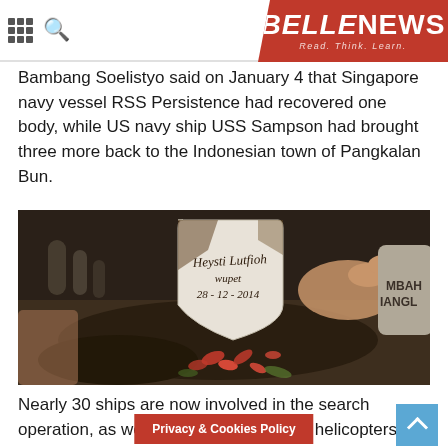BELLE NEWS — Read. Think. Learn.
Bambang Soelistyo said on January 4 that Singapore navy vessel RSS Persistence had recovered one body, while US navy ship USS Sampson had brought three more back to the Indonesian town of Pangkalan Bun.
[Figure (photo): A grave marker with handwritten text 'Heysti Lutfioh wupet 28-12-2014' surrounded by mud and red flower petals, with another partial stone reading 'MBAH IANGL' visible on the right. Hands are seen placing/adjusting the marker.]
Nearly 30 ships are now involved in the search operation, as well as six planes and 14 helicopters.
Privacy & Cookies Policy